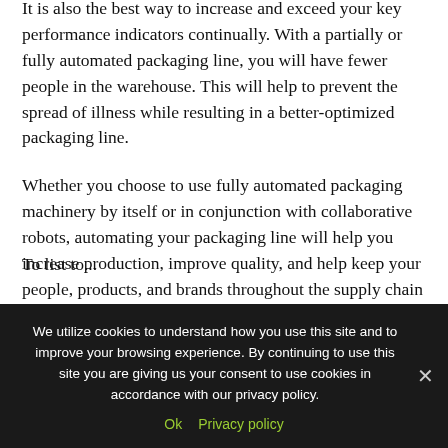It is also the best way to increase and exceed your key performance indicators continually. With a partially or fully automated packaging line, you will have fewer people in the warehouse. This will help to prevent the spread of illness while resulting in a better-optimized packaging line.
Whether you choose to use fully automated packaging machinery by itself or in conjunction with collaborative robots, automating your packaging line will help you increase production, improve quality, and help keep your people, products, and brands throughout the supply chain safe.
To list...
We utilize cookies to understand how you use this site and to improve your browsing experience. By continuing to use this site you are giving us your consent to use cookies in accordance with our privacy policy.
Ok   Privacy policy